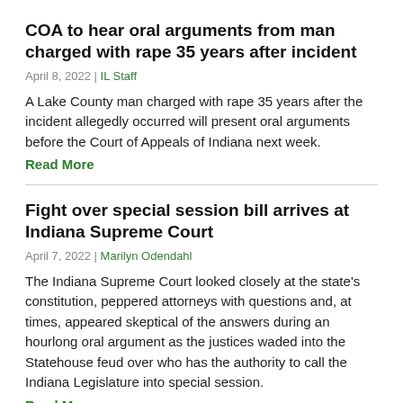COA to hear oral arguments from man charged with rape 35 years after incident
April 8, 2022 | IL Staff
A Lake County man charged with rape 35 years after the incident allegedly occurred will present oral arguments before the Court of Appeals of Indiana next week.
Read More
Fight over special session bill arrives at Indiana Supreme Court
April 7, 2022 | Marilyn Odendahl
The Indiana Supreme Court looked closely at the state's constitution, peppered attorneys with questions and, at times, appeared skeptical of the answers during an hourlong oral argument as the justices waded into the Statehouse feud over who has the authority to call the Indiana Legislature into special session.
Read More